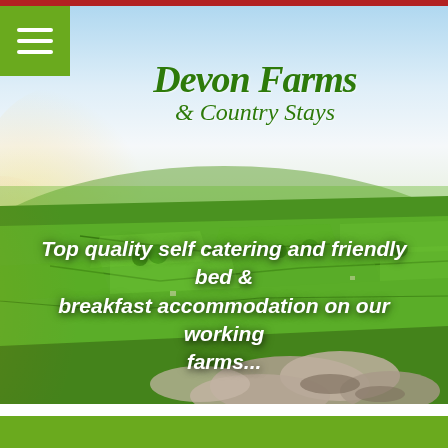[Figure (screenshot): Website screenshot for Devon Farms & Country Stays. Shows a green countryside landscape with rolling fields, hedgerows, and rocky foreground. Features a red bar at top, green hamburger menu button, cursive green logo text 'Devon Farms & Country Stays', italic white tagline text, and a solid green footer bar.]
Devon Farms & Country Stays
Top quality self catering and friendly bed & breakfast accommodation on our working farms...